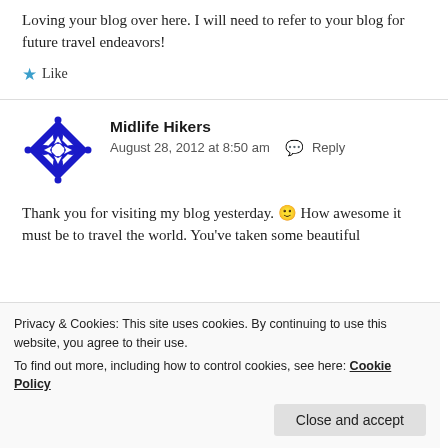Loving your blog over here. I will need to refer to your blog for future travel endeavors!
Like
Midlife Hikers
August 28, 2012 at 8:50 am  Reply
Thank you for visiting my blog yesterday. 🙂 How awesome it must be to travel the world. You've taken some beautiful
Privacy & Cookies: This site uses cookies. By continuing to use this website, you agree to their use. To find out more, including how to control cookies, see here: Cookie Policy
Close and accept